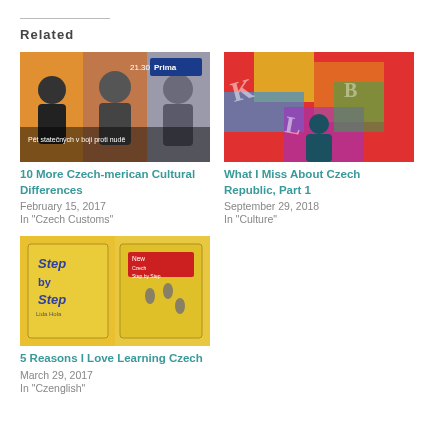Related
[Figure (photo): TV show promo image with four men posing, text reads 'Pět statečných v boji proti nudě', time 21.30]
10 More Czech-merican Cultural Differences
February 15, 2017
In "Czech Customs"
[Figure (photo): Colorful graffiti wall with a person standing in front, letters visible]
What I Miss About Czech Republic, Part 1
September 29, 2018
In "Culture"
[Figure (photo): Yellow book cover titled 'New Czech Step by Step' by Lida Hola]
5 Reasons I Love Learning Czech
March 29, 2017
In "Czenglish"